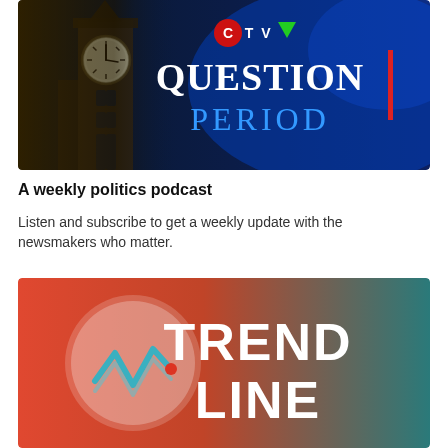[Figure (logo): CTV Question Period logo on a dark blue background with a Big Ben clock tower image on the left side. CTV logo at top with red C circle, TV letters, and green downward triangle. White serif text reads QUESTION PERIOD with a red vertical bar accent.]
A weekly politics podcast
Listen and subscribe to get a weekly update with the newsmakers who matter.
[Figure (logo): Trend Line podcast logo. Background gradient from coral/orange on left to teal/dark on right. White circular emblem with a teal zigzag line chart icon and a small red dot. Large white bold sans-serif text reads TREND LINE.]